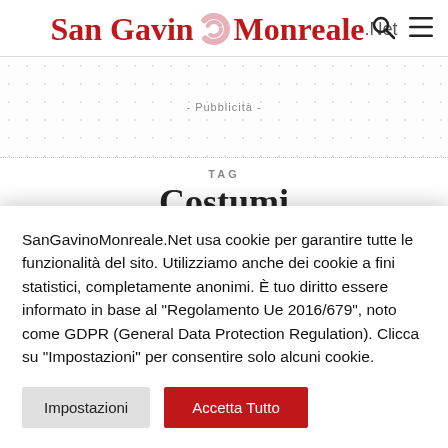San Gavino Monreale .Net
- Pubblicità -
TAG
Costumi
SanGavinoMonreale.Net usa cookie per garantire tutte le funzionalità del sito. Utilizziamo anche dei cookie a fini statistici, completamente anonimi. È tuo diritto essere informato in base al "Regolamento Ue 2016/679", noto come GDPR (General Data Protection Regulation). Clicca su "Impostazioni" per consentire solo alcuni cookie.
Impostazioni | Accetta Tutto